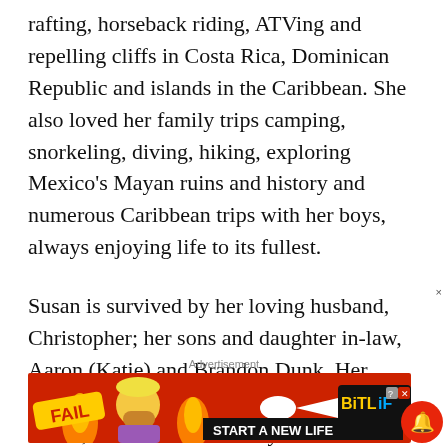rafting, horseback riding, ATVing and repelling cliffs in Costa Rica, Dominican Republic and islands in the Caribbean. She also loved her family trips camping, snorkeling, diving, hiking, exploring Mexico's Mayan ruins and history and numerous Caribbean trips with her boys, always enjoying life to its fullest.
Susan is survived by her loving husband, Christopher; her sons and daughter in-law, Aaron (Katie) and Brandon Dunk. Her father and her mother, Ralph and Janet Snead, her brothers Timothy and Brian Snead,
Advertisement
[Figure (other): Advertisement banner for BitLife app showing cartoon character facepalming with flames, text reading FAIL and START A NEW LIFE with BitLife logo]